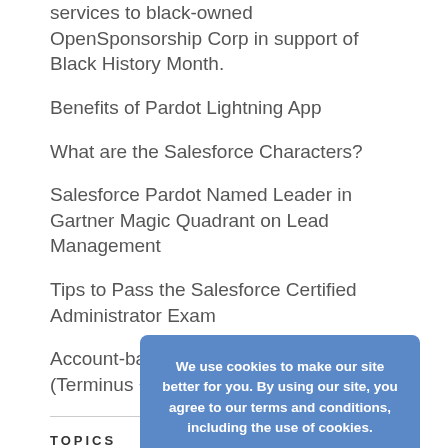services to black-owned OpenSponsorship Corp in support of Black History Month.
Benefits of Pardot Lightning App
What are the Salesforce Characters?
Salesforce Pardot Named Leader in Gartner Magic Quadrant on Lead Management
Tips to Pass the Salesforce Certified Administrator Exam
Account-based marketing just got better (Terminus + Pardot)
TOPICS
Select Category
We use cookies to make our site better for you. By using our site, you agree to our terms and conditions, including the use of cookies.
more information
Accept